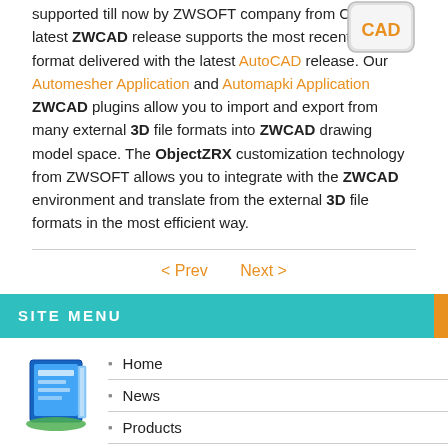supported till now by ZWSOFT company from China. The latest ZWCAD release supports the most recent DWG file format delivered with the latest AutoCAD release. Our Automesher Application and Automapki Application ZWCAD plugins allow you to import and export from many external 3D file formats into ZWCAD drawing model space. The ObjectZRX customization technology from ZWSOFT allows you to integrate with the ZWCAD environment and translate from the external 3D file formats in the most efficient way.
[Figure (logo): ZWCAD logo icon, gray rounded square with orange CAD text]
< Prev   Next >
SITE MENU
[Figure (illustration): Blue book/software box icon]
Home
News
Products
Tutorials
Convert
BricsCAD
COB